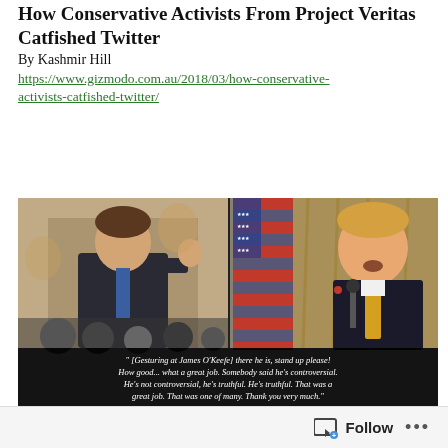How Conservative Activists From Project Veritas Catfished Twitter
By Kashmir Hill
https://www.gizmodo.com.au/2018/03/how-conservative-activists-catfished-twitter/
[Figure (photo): Composite image showing two photos side by side: left photo shows a man in a suit giving a thumbs up in a formal room; right photo shows Donald Trump speaking at a podium in front of an American flag. Below the photos is a black banner with a quote in white serif text: '" [Gesturing at James O'Keefe] there he is, stand up please! How good... what a great job. Somebody said he's controversial. He's not controversial, he's truthful. He's truthful. That was a great job. That was one of many. Thank you very much." –President Trump at the White House. July 11th, 2019'. Below that are two more smaller photos including one with a Presidential seal.]
Follow ...